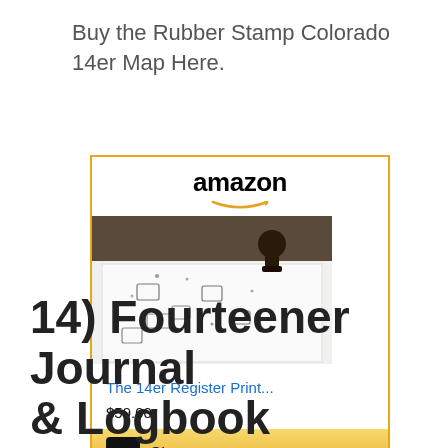Buy the Rubber Stamp Colorado 14er Map Here.
[Figure (other): Amazon product widget showing 'The 14er Register Print...' for $59.00 with a Shop now button. The product image shows rubber stamps scattered on a white surface.]
14) Fourteener Journal & Logbook